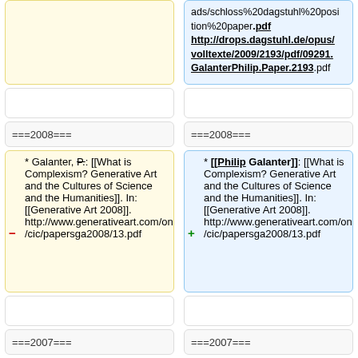ads/schloss%20dagstuhl%20position%20paper.pdf http://drops.dagstuhl.de/opus/volltexte/2009/2193/pdf/09291.GalanterPhilip.Paper.2193.pdf
===2008===
===2008===
* Galanter, P.: [[What is Complexism? Generative Art and the Cultures of Science and the Humanities]]. In: [[Generative Art 2008]]. http://www.generativeart.com/on/cic/papersga2008/13.pdf
* [[Philip Galanter]]: [[What is Complexism? Generative Art and the Cultures of Science and the Humanities]]. In: [[Generative Art 2008]]. http://www.generativeart.com/on/cic/papersga2008/13.pdf
===2007===
===2007===